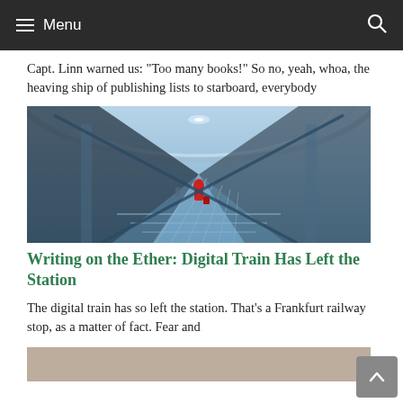Menu
Capt. Linn warned us: "Too many books!" So no, yeah, whoa, the heaving ship of publishing lists to starboard, everybody
[Figure (photo): Interior of a modern railway/airport terminal with escalators, steel and glass architecture, a person in a red jacket with luggage visible on the escalator]
Writing on the Ether: Digital Train Has Left the Station
The digital train has so left the station. That's a Frankfurt railway stop, as a matter of fact. Fear and